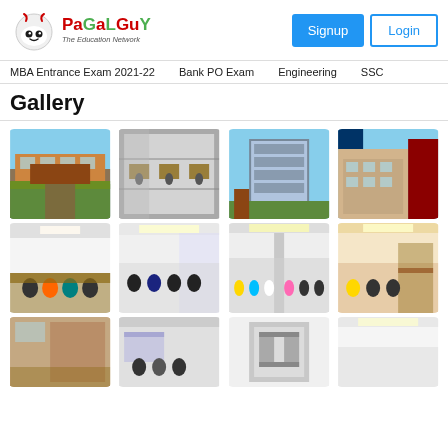PaGaLGuY - The Education Network
MBA Entrance Exam 2021-22   Bank PO Exam   Engineering   SSC
Gallery
[Figure (photo): College building exterior with green lawn]
[Figure (photo): Library interior with students studying]
[Figure (photo): Modern building exterior with lawn]
[Figure (photo): College building exterior with signage]
[Figure (photo): Students sitting in auditorium/classroom]
[Figure (photo): Students in a lecture hall]
[Figure (photo): Large hall with rows of students]
[Figure (photo): Students in a classroom seminar]
[Figure (photo): Room interior partial view]
[Figure (photo): Computer lab with students]
[Figure (photo): Machinery/equipment lab]
[Figure (photo): Room/corridor partial view]